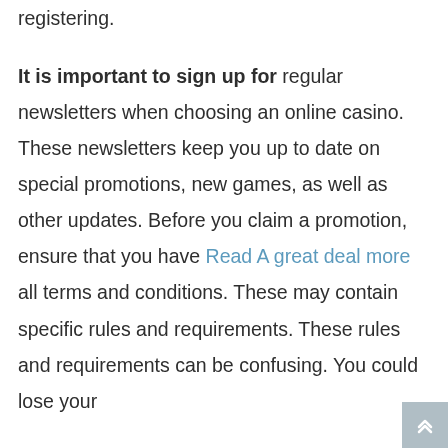registering. It is important to sign up for regular newsletters when choosing an online casino. These newsletters keep you up to date on special promotions, new games, as well as other updates. Before you claim a promotion, ensure that you have Read A great deal more all terms and conditions. These may contain specific rules and requirements. These rules and requirements can be confusing. You could lose your